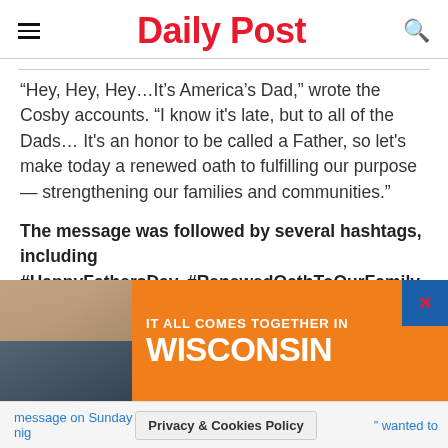Daily Post
“Hey, Hey, Hey…It’s America’s Dad,” wrote the Cosby accounts. “I know it's late, but to all of the Dads… It's an honor to be called a Father, so let's make today a renewed oath to fulfilling our purpose — strengthening our families and communities.”
The message was followed by several hashtags, including #HappyFathersDay, #RenewedOathToOurFamily and
[Figure (infographic): Wisconsin tourism advertisement banner with orange background reading 'IT ALL COMES TOGETHER IN WISCONSIN', photos of people on left side, close button top right]
Privacy & Cookies Policy
message on Sunday nig" “" wanted to